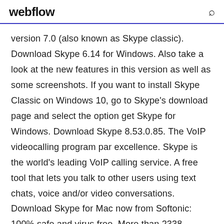webflow
version 7.0 (also known as Skype classic). Download Skype 6.14 for Windows. Also take a look at the new features in this version as well as some screenshots. If you want to install Skype Classic on Windows 10, go to Skype's download page and select the option get Skype for Windows. Download Skype 8.53.0.85. The VoIP videocalling program par excellence. Skype is the world's leading VoIP calling service. A free tool that lets you talk to other users using text chats, voice and/or video conversations. Download Skype for Mac now from Softonic: 100% safe and virus free. More than 2338 downloads this month. Download Skype latest version 2020